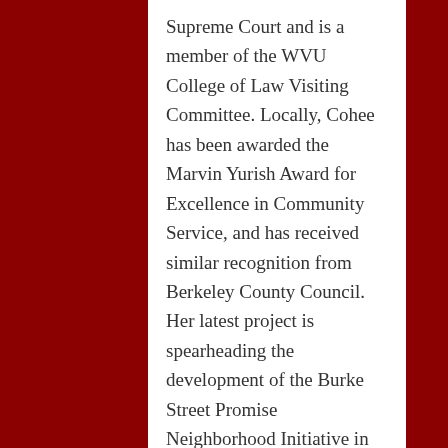Supreme Court and is a member of the WVU College of Law Visiting Committee. Locally, Cohee has been awarded the Marvin Yurish Award for Excellence in Community Service, and has received similar recognition from Berkeley County Council. Her latest project is spearheading the development of the Burke Street Promise Neighborhood Initiative in Martinsburg. Seeing a need in the community and moving forward to make a difference takes a committed effort, not only by the community, but also by someone